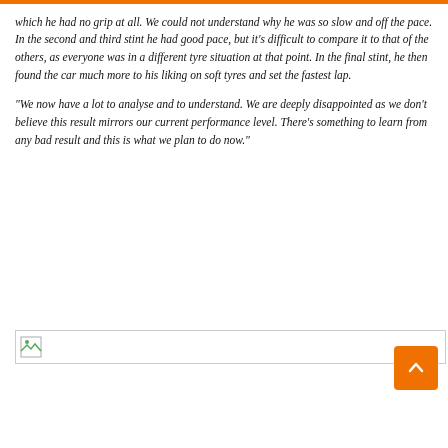which he had no grip at all. We could not understand why he was so slow and off the pace. In the second and third stint he had good pace, but it's difficult to compare it to that of the others, as everyone was in a different tyre situation at that point.  In the final stint, he then found the car much more to his liking on soft tyres and set the fastest lap.
“We now have a lot to analyse and to understand. We are deeply disappointed as we don’t believe this result mirrors our current performance level. There’s something to learn from any bad result and this is what we plan to do now.”
[Figure (photo): Broken image placeholder icon with a horizontal rule line]